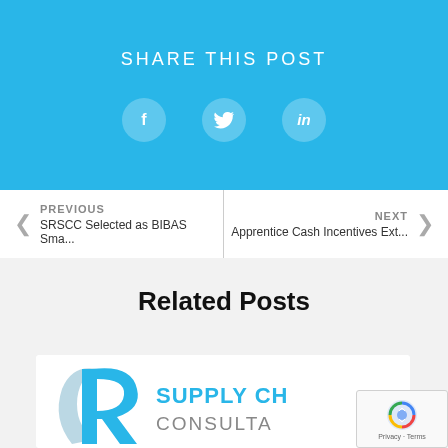SHARE THIS POST
[Figure (infographic): Social media share icons: Facebook, Twitter, LinkedIn on blue background]
PREVIOUS SRSCC Selected as BIBAS Sma...
NEXT Apprentice Cash Incentives Ext...
Related Posts
[Figure (logo): Supply Chain Consultancy logo — SR monogram in blue with text SUPPLY CH... CONSULTA...]